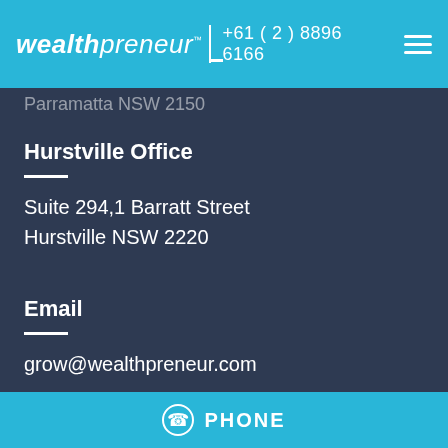wealthpreneur +61 ( 2 ) 8896 6166
Parramatta NSW 2150
Hurstville Office
Suite 294,1 Barratt Street
Hurstville NSW 2220
Email
grow@wealthpreneur.com
Ph
PHONE